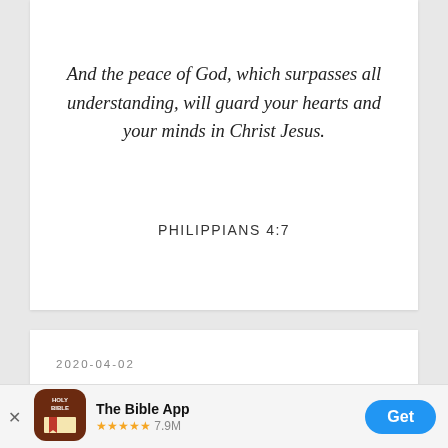And the peace of God, which surpasses all understanding, will guard your hearts and your minds in Christ Jesus.
PHILIPPIANS 4:7
2020-04-02
Need some peace? Start
The Bible App ★★★★★ 7.9M
Get